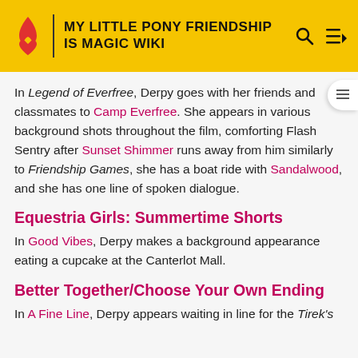MY LITTLE PONY FRIENDSHIP IS MAGIC WIKI
In Legend of Everfree, Derpy goes with her friends and classmates to Camp Everfree. She appears in various background shots throughout the film, comforting Flash Sentry after Sunset Shimmer runs away from him similarly to Friendship Games, she has a boat ride with Sandalwood, and she has one line of spoken dialogue.
Equestria Girls: Summertime Shorts
In Good Vibes, Derpy makes a background appearance eating a cupcake at the Canterlot Mall.
Better Together/Choose Your Own Ending
In A Fine Line, Derpy appears waiting in line for the Tirek's Revenge with someone the Scourge of Skeleton...